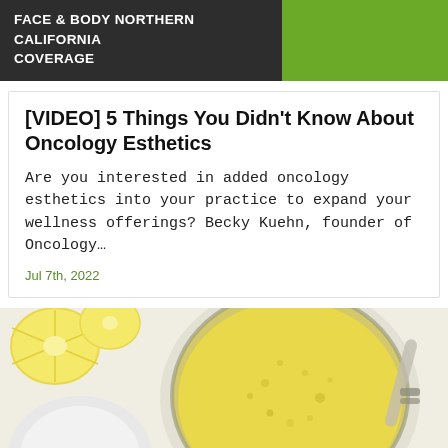FACE & BODY NORTHERN CALIFORNIA COVERAGE
[VIDEO] 5 Things You Didn't Know About Oncology Esthetics
Are you interested in added oncology esthetics into your practice to expand your wellness offerings? Becky Kuehn, founder of Oncology…
Jul 7th, 2022
[Figure (photo): Top-down view of an open glass jar containing yellow scrub or cream, with lemon slices and white circular dish visible in the background]
FAQ  Contact Us  Editorial Submission  Product Submission  Advertise  Privacy Policy  Legal Terms  Site Map